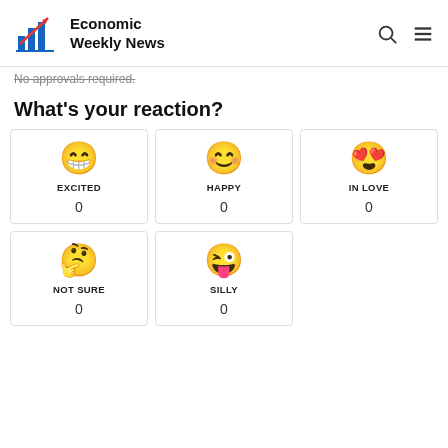Economic Weekly News
No approvals required.
What's your reaction?
| Reaction | Count |
| --- | --- |
| EXCITED | 0 |
| HAPPY | 0 |
| IN LOVE | 0 |
| NOT SURE | 0 |
| SILLY | 0 |